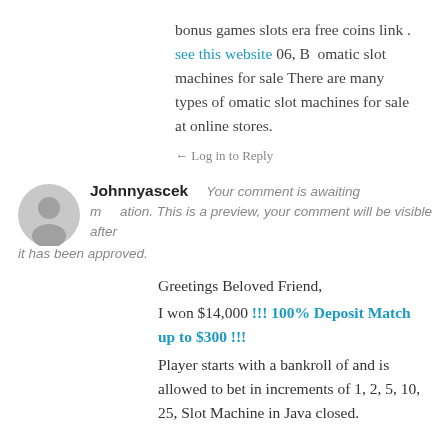bonus games slots era free coins link . see this website 06, B omatic slot machines for sale There are many types of omatic slot machines for sale at online stores.
← Log in to Reply
Johnnyascek   Your comment is awaiting moderation. This is a preview, your comment will be visible after it has been approved.
Greetings Beloved Friend,
I won $14,000 !!! 100% Deposit Match up to $300 !!!
Player starts with a bankroll of and is allowed to bet in increments of 1, 2, 5, 10, 25, Slot Machine in Java closed.
https://orionstrength.com/product/fitness-1-